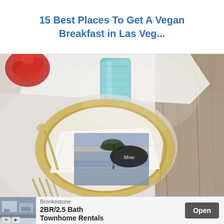15 Best Places To Get A Vegan Breakfast in Las Veg...
[Figure (photo): Elegant table setting with a gold-rimmed charger plate, white napkin, a menu card with a coastal/beach photo, a black oval name card with cursive script, a teal embossed glass, gold cutlery (spoon on left, knife/fork on lower left), and red roses in upper left corner, all on a white linen tablecloth with wooden surface visible on right.]
[Figure (photo): Advertisement banner for Brookestone: 2BR/2.5 Bath Townhome Rentals with an Open button, thumbnail showing interior room photo, and X and play icons.]